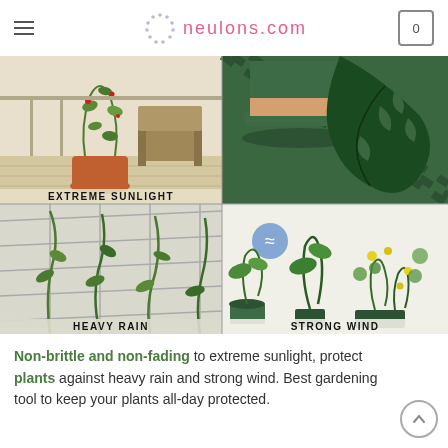neulons.com
[Figure (photo): Four-panel infographic showing plant resilience scenarios: top-left shows tomato plant in terracotta pot on deck labeled EXTREME SUNLIGHT; top-right shows green striped planter pot with monstera leaf; bottom-left shows climbing plants on trellis labeled HEAVY RAIN; bottom-right shows indoor garden with yellow flowers and blue fan labeled STRONG WIND]
Non-brittle and non-fading to extreme sunlight, protect plants against heavy rain and strong wind. Best gardening tool to keep your plants all-day protected.